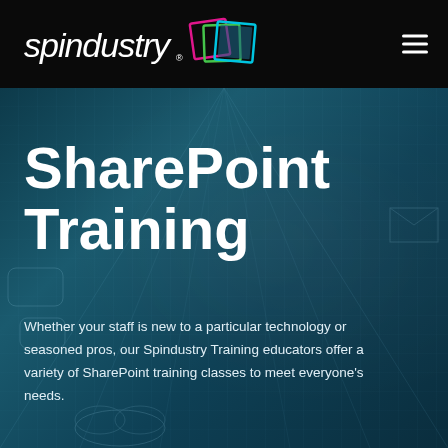[Figure (logo): Spindustry logo with stylized italic text and overlapping colored squares (pink, green, blue) on black navigation bar]
SharePoint Training
Whether your staff is new to a particular technology or seasoned pros, our Spindustry Training educators offer a variety of SharePoint training classes to meet everyone's needs.